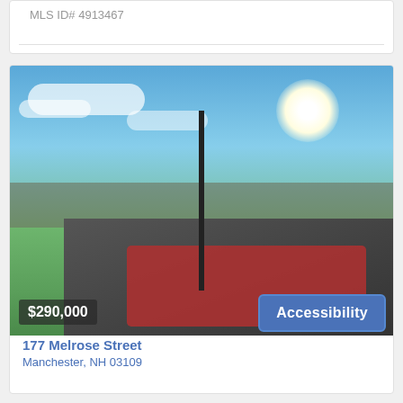MLS ID# 4913467
[Figure (photo): Outdoor backyard deck scene with patio furniture including table and chairs with striped umbrella, red patterned rug on dark wood deck, green lawn, fence, shed, pergola, and bright blue sky with clouds. A white house is visible on the right side.]
$290,000
Accessibility
177 Melrose Street
Manchester, NH 03109